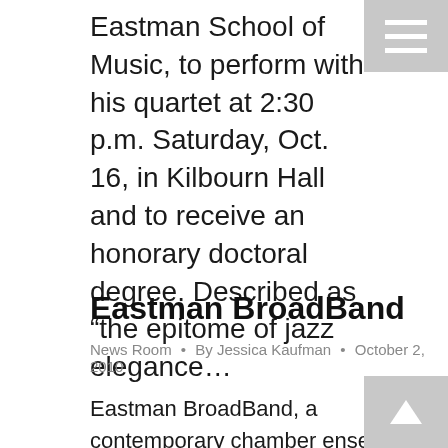Eastman School of Music, to perform with his quartet at 2:30 p.m. Saturday, Oct. 16, in Kilbourn Hall and to receive an honorary doctoral degree. Described as “the epitome of jazz elegance...
Eastman BroadBand
News Room • By Jessica Kaufman • October 2, 2010
Eastman BroadBand, a contemporary chamber ensemble at the Eastman School of Music, will be going on the road to New York City and Mexico to present new music from around the world. Invited to perform at the Festival Internacional Cervantino, a prestigious international artistic and cultural festival, the ensemble will give a free local